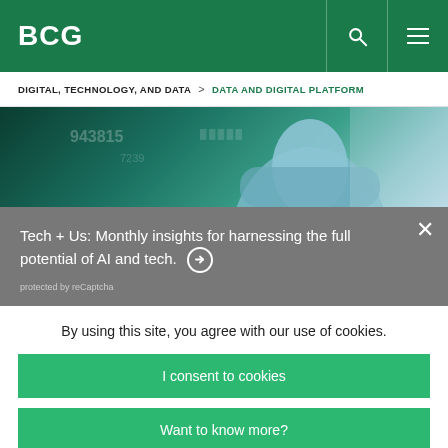BCG
DIGITAL, TECHNOLOGY, AND DATA > DATA AND DIGITAL PLATFORM
[Figure (photo): Hero image of a person in a light blue shirt with digital/data visualizations in the background]
Tech + Us: Monthly insights for harnessing the full potential of AI and tech. →
protected by reCaptcha
By using this site, you agree with our use of cookies.
I consent to cookies
Want to know more?
Read our Cookie Policy